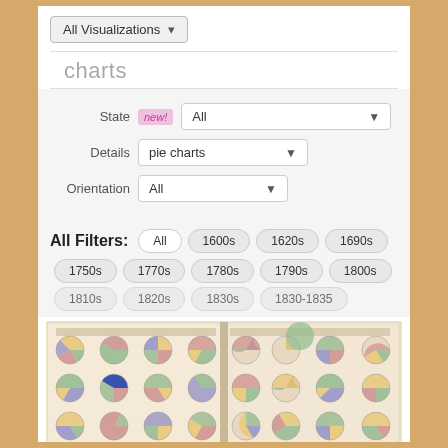All Visualizations ▾
charts
State new! All ▾
Details pie charts ▾
Orientation All ▾
All Filters: All  1600s  1620s  1690s  1750s  1770s  1780s  1790s  1800s  1810s  1820s  1830s  1830-1835
[Figure (illustration): Open book spread showing a grid of historical pie charts on aged paper background. Multiple rows and columns of colorful pie charts in pastel tones (green, blue, pink, beige) arranged across two pages of an open book.]